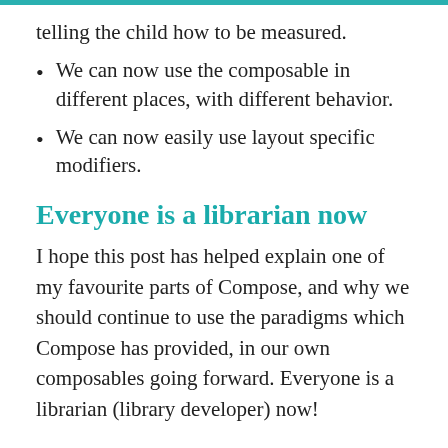telling the child how to be measured.
We can now use the composable in different places, with different behavior.
We can now easily use layout specific modifiers.
Everyone is a librarian now
I hope this post has helped explain one of my favourite parts of Compose, and why we should continue to use the paradigms which Compose has provided, in our own composables going forward. Everyone is a librarian (library developer) now!